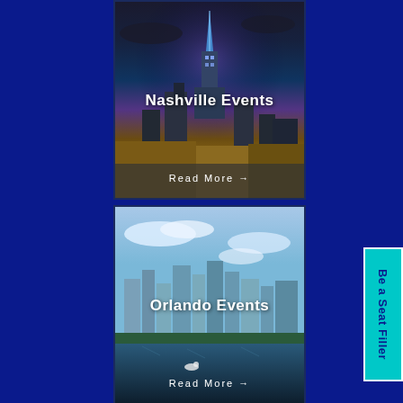[Figure (photo): Partial top strip of a city photo]
[Figure (photo): Nashville city skyline at night with illuminated tower, dark sky with clouds]
Nashville Events
Read More →
[Figure (photo): Orlando city skyline with waterfront, blue sky with clouds]
Orlando Events
Read More →
Be a Seat Filler